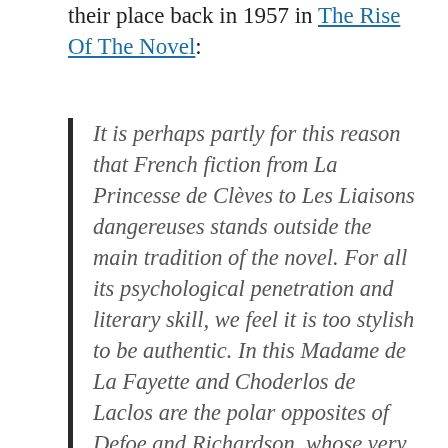their place back in 1957 in The Rise Of The Novel:
It is perhaps partly for this reason that French fiction from La Princesse de Clèves to Les Liaisons dangereuses stands outside the main tradition of the novel. For all its psychological penetration and literary skill, we feel it is too stylish to be authentic. In this Madame de La Fayette and Choderlos de Laclos are the polar opposites of Defoe and Richardson, whose very diffuseness tends to act as a guarantee of the authenticity of their report, whose prose aims exclusively at what Locke defined as the proper purpose of